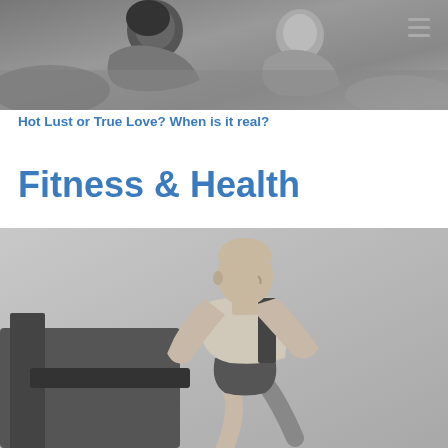[Figure (photo): Black and white photo of two people, appears to be a couple in an intimate or close pose outdoors]
Hot Lust or True Love? When is it real?
Fitness & Health
[Figure (photo): Color photo of a muscular man running on a treadmill in a gym, wearing a light gray sleeveless shirt]